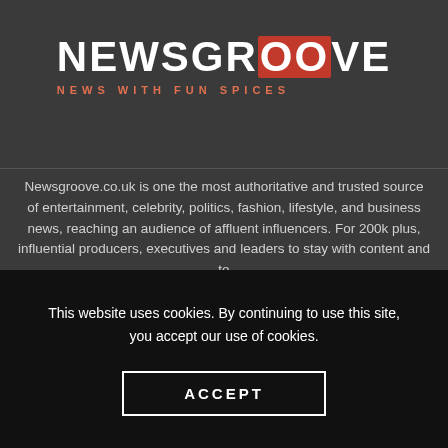[Figure (logo): Newsgroove logo with red OO letters and tagline NEWS WITH FUN SPICES]
Newsgroove.co.uk is one the most authoritative and trusted source of entertainment, celebrity, politics, fashion, lifestyle, and business news, reaching an audience of affluent influencers. For 200k plus, influential producers, executives and leaders to stay with content and to
This website uses cookies. By continuing to use this site, you accept our use of cookies.
ACCEPT